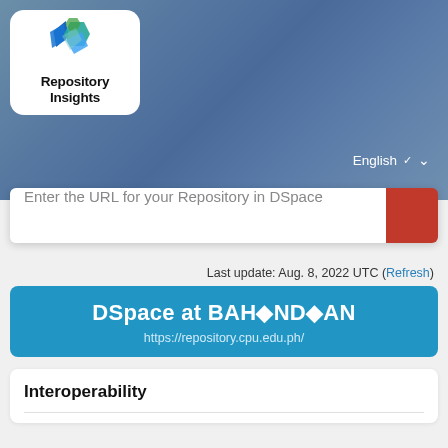[Figure (logo): Repository Insights logo with hexagonal gem shapes in blue, teal, and green on a white rounded rectangle, with bold text 'Repository Insights' below the icon]
English ∨
Enter the URL for your Repository in DSpace
Last update: Aug. 8, 2022 UTC (Refresh)
DSpace at BAH◆ND◆AN
https://repository.cpu.edu.ph/
Interoperability